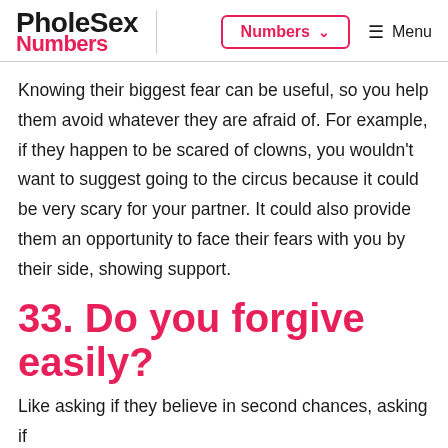PholeSex Numbers | Numbers ∨ ≡ Menu
Knowing their biggest fear can be useful, so you help them avoid whatever they are afraid of. For example, if they happen to be scared of clowns, you wouldn't want to suggest going to the circus because it could be very scary for your partner. It could also provide them an opportunity to face their fears with you by their side, showing support.
33. Do you forgive easily?
Like asking if they believe in second chances, asking if